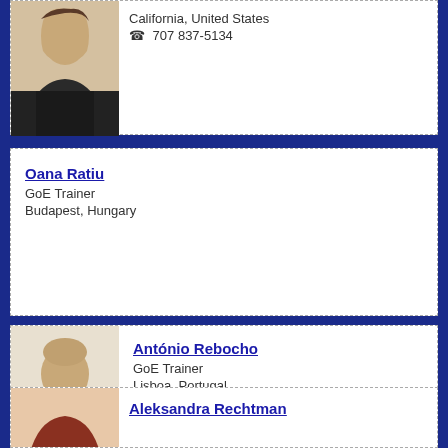[Figure (photo): Professional photo of a woman in dark jacket, California US]
California, United States
☎ 707 837-5134
[Figure (photo): No photo for Oana Ratiu]
Oana Ratiu
GoE Trainer
Budapest, Hungary
[Figure (photo): Professional photo of a bald man in dark jacket, Lisboa Portugal]
António Rebocho
GoE Trainer
Lisboa, Portugal
☎ +351 93 888 09 80
[Figure (photo): Photo of Aleksandra Rechtman, partial view]
Aleksandra Rechtman